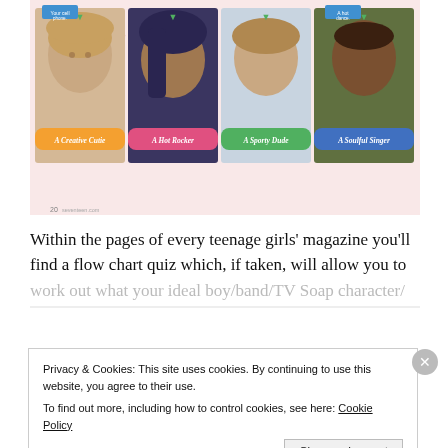[Figure (photo): Magazine page showing four young male celebrities with colored overlay labels: 'A Creative Cutie', 'A Hot Rocker', 'A Sporty Dude', 'A Soulful Singer', each with descriptive text below their photos. Pink hearts decorate the background.]
Within the pages of every teenage girls' magazine you'll find a flow chart quiz which, if taken, will allow you to work out what your ideal boy/band/TV Soap character/
Privacy & Cookies: This site uses cookies. By continuing to use this website, you agree to their use.
To find out more, including how to control cookies, see here: Cookie Policy
Close and accept